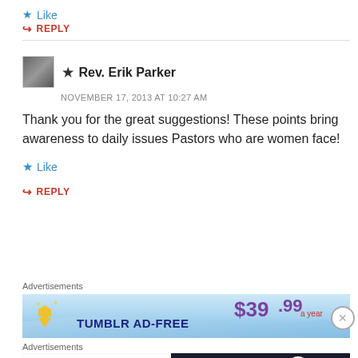Like
↪ REPLY
★ Rev. Erik Parker
NOVEMBER 17, 2013 AT 10:27 AM
Thank you for the great suggestions! These points bring awareness to daily issues Pastors who are women face!
★ Like
↪ REPLY
Advertisements
[Figure (infographic): Tumblr Ad-Free banner advertisement showing $39.99 a year price with star/arrow icon and blue gradient background]
Advertisements
[Figure (infographic): Two-panel advertisement: left panel white with 'The first rule of Startup School?', right panel dark with 'Ask questions.' and WordPress logo]